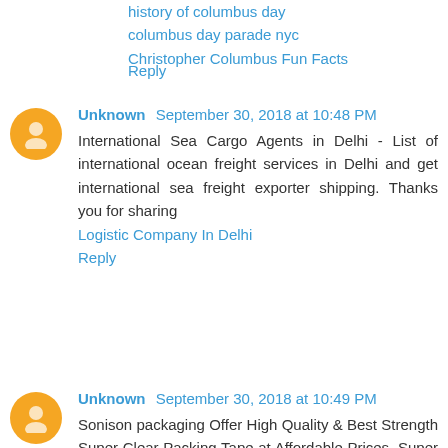history of columbus day
columbus day parade nyc
Christopher Columbus Fun Facts
Reply
Unknown  September 30, 2018 at 10:48 PM
International Sea Cargo Agents in Delhi - List of international ocean freight services in Delhi and get international sea freight exporter shipping. Thanks you for sharing
Logistic Company In Delhi
Reply
Unknown  September 30, 2018 at 10:49 PM
Sonison packaging Offer High Quality & Best Strength Super Clear Packing Tape at Affordable Prices, Super Clear Tape Manufacturer Supplier Delhi. Thanks you for very nice its sharing